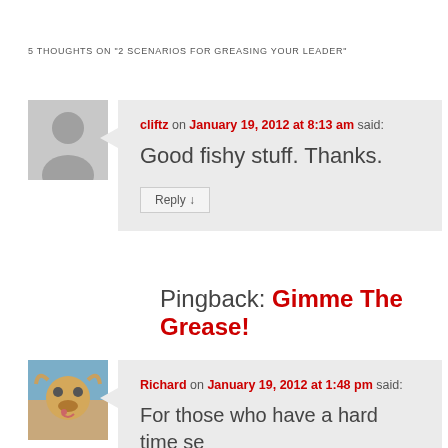5 THOUGHTS ON "2 SCENARIOS FOR GREASING YOUR LEADER"
cliftz on January 19, 2012 at 8:13 am said: Good fishy stuff. Thanks. Reply
Pingback: Gimme The Grease!
Richard on January 19, 2012 at 1:48 pm said: For those who have a hard time se... their tiny midge dries, stick on a pa...